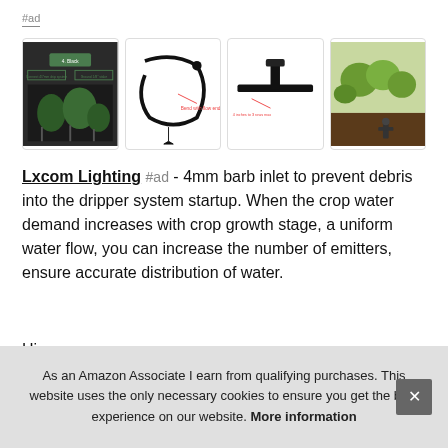#ad
[Figure (photo): Four product images of Lxcom Lighting drip irrigation system components: labeled diagram with plants, circular tubing stake, T-shaped emitter with measurements, and plant in soil with separate emitter]
Lxcom Lighting #ad - 4mm barb inlet to prevent debris into the dripper system startup. When the crop water demand increases with crop growth stage, a uniform water flow, you can increase the number of emitters, ensure accurate distribution of water.
High... to c...
As an Amazon Associate I earn from qualifying purchases. This website uses the only necessary cookies to ensure you get the best experience on our website. More information